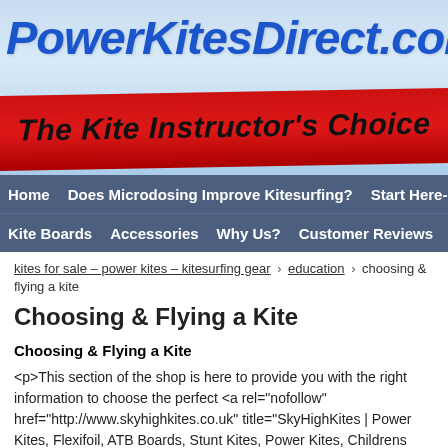[Figure (logo): PowerKitesDirect.com logo with blue italic bold text on light blue background, with red ribbon banner below reading 'The Kite Instructor's Choice']
Home   Does Microdosing Improve Kitesurfing?   Start Here-FAQs   Bu...
Kite Boards   Accessories   Why Us?   Customer Reviews   Used Gear
kites for sale – power kites – kitesurfing gear › education › choosing & flying a kite
Choosing & Flying a Kite
Choosing & Flying a Kite
<p>This section of the shop is here to provide you with the right information to choose the perfect <a rel="nofollow" onclick="javascript:pageTracker._trackPageview('/outgoing/article_exit_link');" href="http://www.skyhighkites.co.uk" title="SkyHighKites | Power Kites, Flexifoil, ATB Boards, Stunt Kites, Power Kites, Childrens Kites, Flexifoil, RC Flying Power Toys, Disney Kites | Sky High Kites">kite</a> for the flyer, some of our kites are suitable for very small children, while others should be given the greatest respect by competent adult pilots.</p>
<p> First of all we'll tell you a little about the different types of ki...